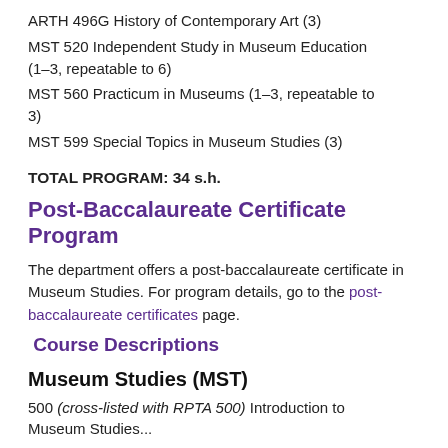ARTH 496G History of Contemporary Art (3)
MST 520 Independent Study in Museum Education (1–3, repeatable to 6)
MST 560 Practicum in Museums (1–3, repeatable to 3)
MST 599 Special Topics in Museum Studies (3)
TOTAL PROGRAM: 34 s.h.
Post-Baccalaureate Certificate Program
The department offers a post-baccalaureate certificate in Museum Studies. For program details, go to the post-baccalaureate certificates page.
Course Descriptions
Museum Studies (MST)
500 (cross-listed with RPTA 500) Introduction to Museum Studies...